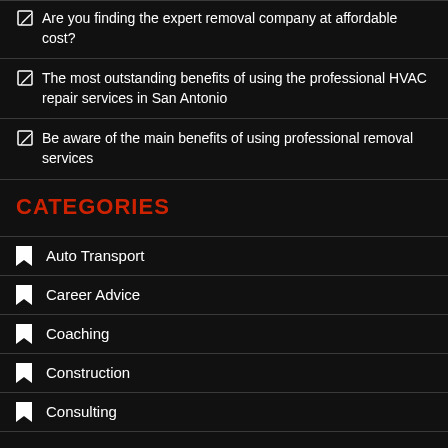Are you finding the expert removal company at affordable cost?
The most outstanding benefits of using the professional HVAC repair services in San Antonio
Be aware of the main benefits of using professional removal services
CATEGORIES
Auto Transport
Career Advice
Coaching
Construction
Consulting